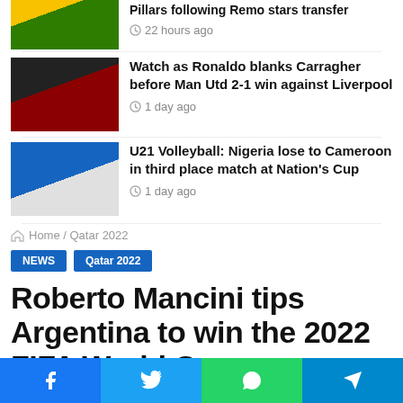[Figure (photo): Thumbnail of soccer players in yellow jerseys]
Pillars following Remo stars transfer
22 hours ago
[Figure (photo): Thumbnail of Ronaldo at a stadium]
Watch as Ronaldo blanks Carragher before Man Utd 2-1 win against Liverpool
1 day ago
[Figure (photo): Thumbnail of volleyball players]
U21 Volleyball: Nigeria lose to Cameroon in third place match at Nation's Cup
1 day ago
Home / Qatar 2022
NEWS   Qatar 2022
Roberto Mancini tips Argentina to win the 2022 FIFA World C…